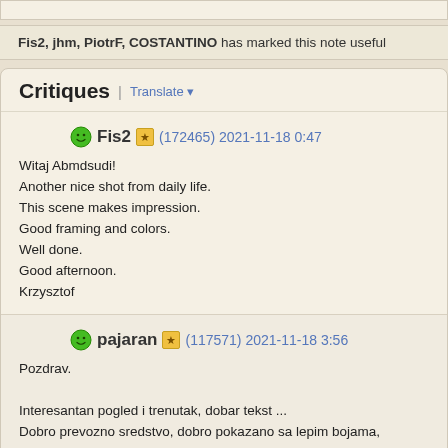Fis2, jhm, PiotrF, COSTANTINO has marked this note useful
Critiques | Translate
Fis2 (172465) 2021-11-18 0:47
Witaj Abmdsudi!
Another nice shot from daily life.
This scene makes impression.
Good framing and colors.
Well done.
Good afternoon.
Krzysztof
pajaran (117571) 2021-11-18 3:56
Pozdrav.

Interesantan pogled i trenutak, dobar tekst ...
Dobro prevozno sredstvo, dobro pokazano sa lepim bojama, kontrastom i uhvac
Dobar rad, lepa fotografija.
Lepa scena sa ulice.